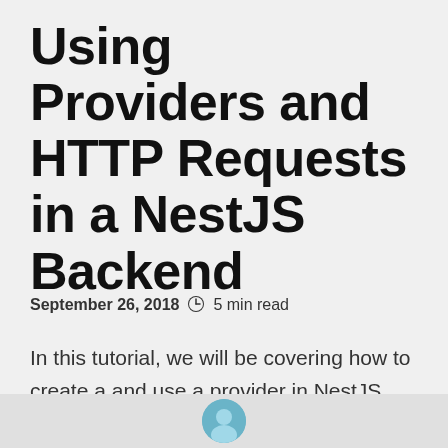Using Providers and HTTP Requests in a NestJS Backend
September 26, 2018 🕐 5 min read
In this tutorial, we will be covering how to create a and use a provider in NestJS and how to make HTTP requests.
[Figure (illustration): Author avatar circle at bottom of page]